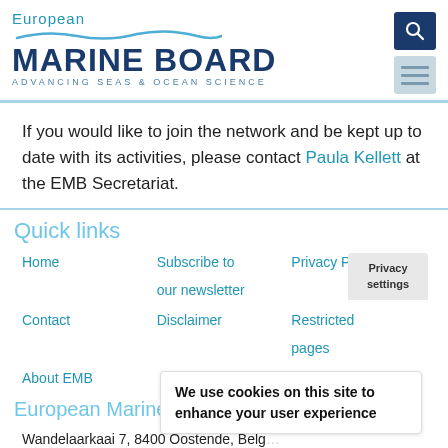European Marine Board — Advancing Seas & Ocean Science
If you would like to join the network and be kept up to date with its activities, please contact Paula Kellett at the EMB Secretariat.
Quick links
Home
Subscribe to our newsletter
Privacy Policy
Contact
Disclaimer
Restricted pages
About EMB
European Marine Board
Wandelaarkaai 7, 8400 Oostende, Belg...
Tel +...
info@...
Websi...
Privacy settings
We use cookies on this site to enhance your user experience